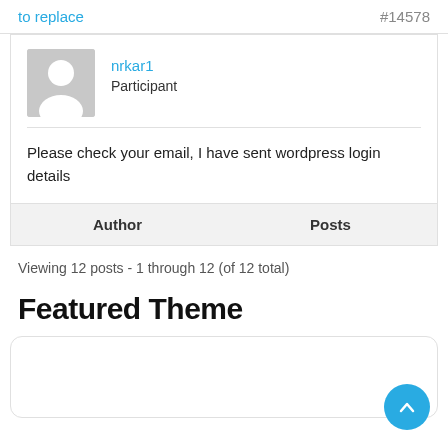to replace  #14578
nrkar1
Participant
Please check your email, I have sent wordpress login details
Author   Posts
Viewing 12 posts - 1 through 12 (of 12 total)
Featured Theme